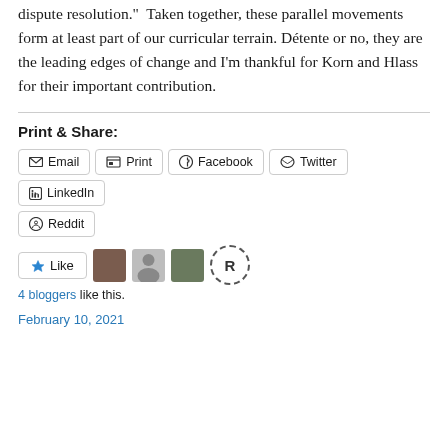dispute resolution.”  Taken together, these parallel movements form at least part of our curricular terrain. Détente or no, they are the leading edges of change and I’m thankful for Korn and Hlass for their important contribution.
Print & Share:
Email  Print  Facebook  Twitter  LinkedIn  Reddit
Like  [avatars]  4 bloggers like this.
February 10, 2021